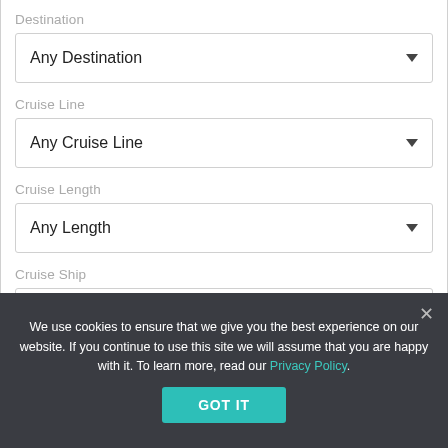Destination
Any Destination
Cruise Line
Any Cruise Line
Cruise Length
Any Length
Cruise Ship
Any Cruise Ship
Sail Date (partial, cut off)
We use cookies to ensure that we give you the best experience on our website. If you continue to use this site we will assume that you are happy with it. To learn more, read our Privacy Policy.
GOT IT